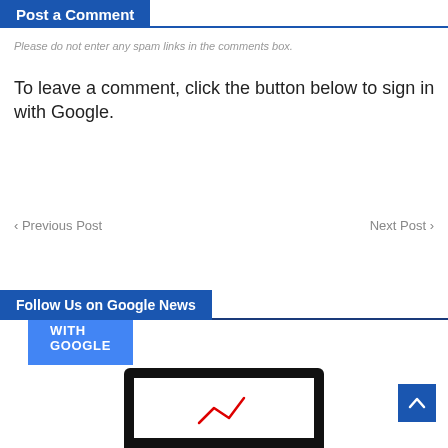Post a Comment
Please do not enter any spam links in the comments box.
To leave a comment, click the button below to sign in with Google.
SIGN IN WITH GOOGLE
< Previous Post
Next Post >
Follow Us on Google News
[Figure (screenshot): Scroll to top button (blue, with upward chevron arrow)]
[Figure (photo): Partial view of a tablet device showing a screen with a red graphic element]